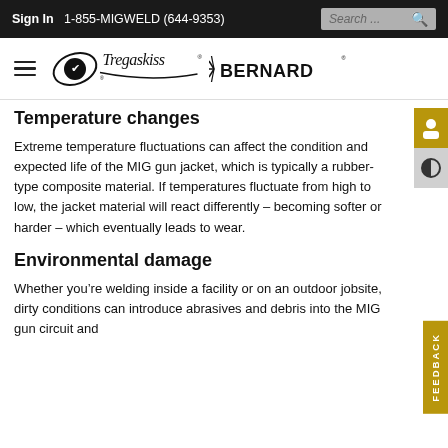Sign In   1-855-MIGWELD (644-9353)   Search...
[Figure (logo): Tregaskiss and Bernard logos with hamburger menu]
Temperature changes
Extreme temperature fluctuations can affect the condition and expected life of the MIG gun jacket, which is typically a rubber-type composite material. If temperatures fluctuate from high to low, the jacket material will react differently – becoming softer or harder – which eventually leads to wear.
Environmental damage
Whether you're welding inside a facility or on an outdoor jobsite, dirty conditions can introduce abrasives and debris into the MIG gun circuit and